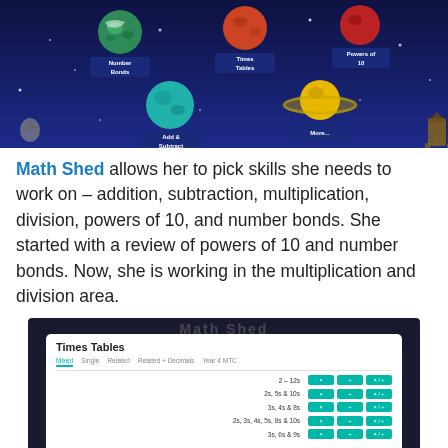[Figure (screenshot): Math Shed app screenshot showing a space-themed selection screen with planets representing Number Bonds, Times Tables, Powers of 10, Add & Subtract, and More options against a dark blue starry background.]
Math Shed allows her to pick skills she needs to work on – addition, subtraction, multiplication, division, powers of 10, and number bonds. She started with a review of powers of 10 and number bonds. Now, she is working in the multiplication and division area.
[Figure (screenshot): Math Shed Times Tables interface showing tabs: Mixed, Single, Related, Related + Decimals, Year 4 MTC. Rows listed: 2–12s, 2s 5s & 10s, 3s 4s & 8s, 2s 3s 4s 5s 8s & 10s, 3s 6s & 9s. Each row has teal buttons for multiplication, division, and mixed operations.]